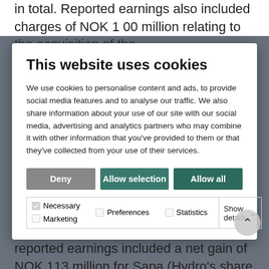in total. Reported earnings also included charges of NOK 1 00 million relating to the acquisition of the
This website uses cookies
We use cookies to personalise content and ads, to provide social media features and to analyse our traffic. We also share information about your use of our site with our social media, advertising and analytics partners who may combine it with other information that you've provided to them or that they've collected from your use of their services.
Deny | Allow selection | Allow all
| ☑ Necessary | □ Preferences | □ Statistics | Show details ∨ |
| □ Marketing |  |  |  |
the charge of NOK 32 million relating to remeasurement of environmental liabilities in Germany. In addition, reported earnings included a net gain of NOK 113 million for Sapa (Hydro's share net of tax), relating to unrealized derivative